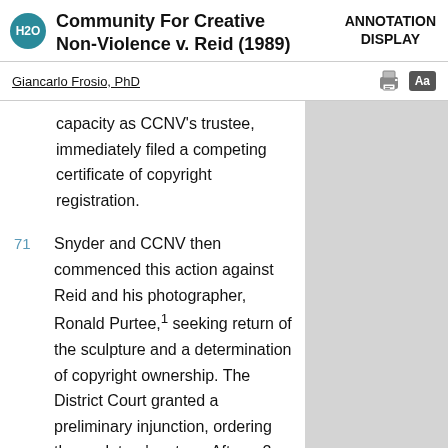Community For Creative Non-Violence v. Reid (1989)
ANNOTATION DISPLAY
Giancarlo Frosio, PhD
capacity as CCNV's trustee, immediately filed a competing certificate of copyright registration.
71 Snyder and CCNV then commenced this action against Reid and his photographer, Ronald Purtee,¹ seeking return of the sculpture and a determination of copyright ownership. The District Court granted a preliminary injunction, ordering the sculpture's return. After a 2-day bench trial, the District Court declared that "Third World America" was a "work made for hire" under § 101 of the Copyright Act and that Snyder...